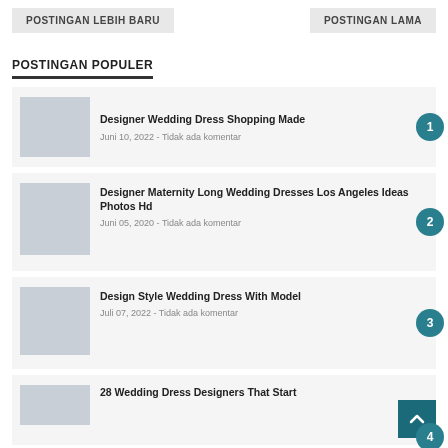POSTINGAN LEBIH BARU   POSTINGAN LAMA
POSTINGAN POPULER
Designer Wedding Dress Shopping Made - Juni 10, 2022 - Tidak ada komentar
Designer Maternity Long Wedding Dresses Los Angeles Ideas Photos Hd - Juni 05, 2020 - Tidak ada komentar
Design Style Wedding Dress With Model - Juli 07, 2022 - Tidak ada komentar
28 Wedding Dress Designers That Start